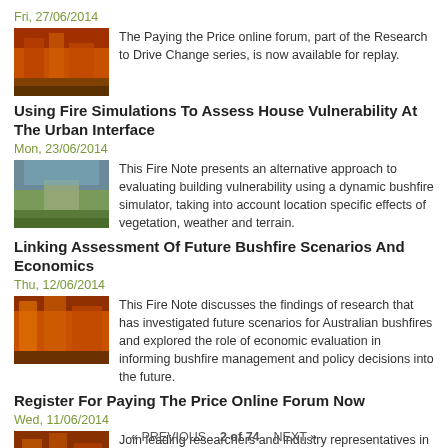Fri, 27/06/2014
The Paying the Price online forum, part of the Research to Drive Change series, is now available for replay.
Using Fire Simulations To Assess House Vulnerability At The Urban Interface
Mon, 23/06/2014
This Fire Note presents an alternative approach to evaluating building vulnerability using a dynamic bushfire simulator, taking into account location specific effects of vegetation, weather and terrain.
Linking Assessment Of Future Bushfire Scenarios And Economics
Thu, 12/06/2014
This Fire Note discusses the findings of research that has investigated future scenarios for Australian bushfires and explored the role of economic evaluation in informing bushfire management and policy decisions into the future.
Register For Paying The Price Online Forum Now
Wed, 11/06/2014
Join leading researchers and industry representatives in interactive discussion for the Paying the Price online forum on Tuesday 17 June at 12:30pm, part of our Research To Drive Change series.
« PREVIOUS   2 of 74   NEXT »